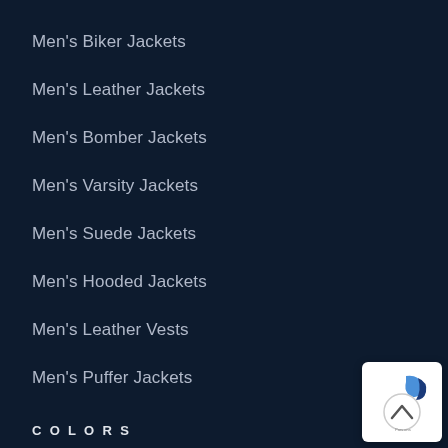Men's Biker Jackets
Men's Leather Jackets
Men's Bomber Jackets
Men's Varsity Jackets
Men's Suede Jackets
Men's Hooded Jackets
Men's Leather Vests
Men's Puffer Jackets
COLORS
[Figure (other): Scroll-to-top button with upward chevron arrow and blue logo icon]